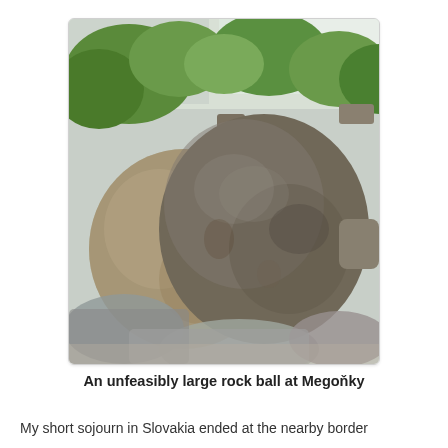[Figure (photo): A large spherical rock ball formation at Megoňky, surrounded by other rocks and boulders, with green trees and shrubs visible in the background against a pale sky.]
An unfeasibly large rock ball at Megoňky
My short sojourn in Slovakia ended at the nearby border